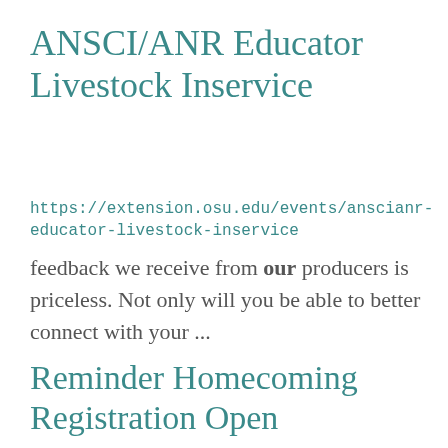ANSCI/ANR Educator Livestock Inservice
https://extension.osu.edu/events/anscianr-educator-livestock-inservice
feedback we receive from our producers is priceless. Not only will you be able to better connect with your ...
Reminder Homecoming Registration Open
https://advancement.cfaes.ohio-state.edu/email/reminder-homecoming-registration-open
academic units. Saturday, Oct. 1 Join us for our annual CFAES Homecoming Tailgate